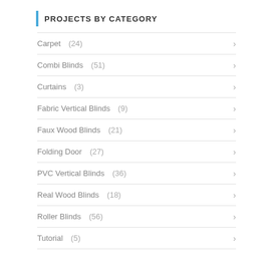PROJECTS BY CATEGORY
Carpet (24)
Combi Blinds (51)
Curtains (3)
Fabric Vertical Blinds (9)
Faux Wood Blinds (21)
Folding Door (27)
PVC Vertical Blinds (36)
Real Wood Blinds (18)
Roller Blinds (56)
Tutorial (5)